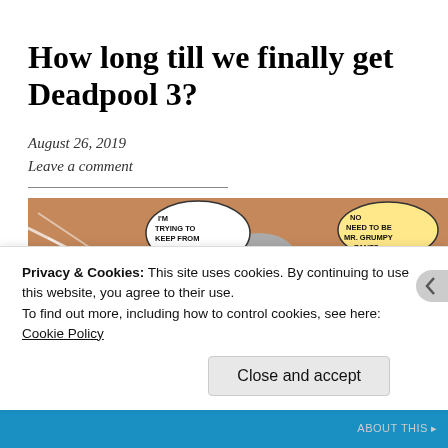How long till we finally get Deadpool 3?
August 26, 2019
Leave a comment
[Figure (illustration): Comic book panel showing Cable and Deadpool. Cable holds a large weapon with speech bubble 'I'M TRYING TO KEEP FROM GETTING KILLED.' Deadpool appears on the right with speech bubble 'NO NEED TO BE MR. GRUMPY PANTS.']
Privacy & Cookies: This site uses cookies. By continuing to use this website, you agree to their use.
To find out more, including how to control cookies, see here:
Cookie Policy
Close and accept